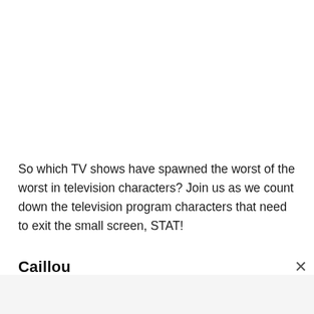So which TV shows have spawned the worst of the worst in television characters? Join us as we count down the television program characters that need to exit the small screen, STAT!
Caillou